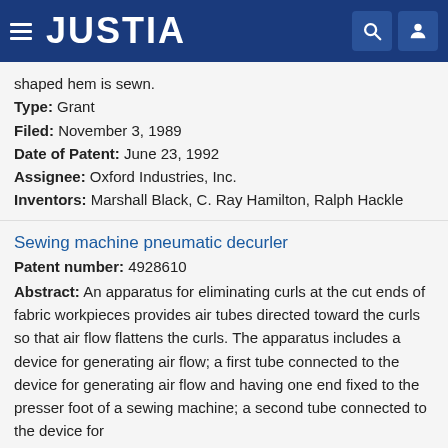JUSTIA
shaped hem is sewn.
Type: Grant
Filed: November 3, 1989
Date of Patent: June 23, 1992
Assignee: Oxford Industries, Inc.
Inventors: Marshall Black, C. Ray Hamilton, Ralph Hackle
Sewing machine pneumatic decurler
Patent number: 4928610
Abstract: An apparatus for eliminating curls at the cut ends of fabric workpieces provides air tubes directed toward the curls so that air flow flattens the curls. The apparatus includes a device for generating air flow; a first tube connected to the device for generating air flow and having one end fixed to the presser foot of a sewing machine; a second tube connected to the device for